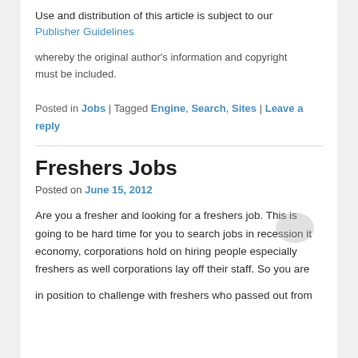Use and distribution of this article is subject to our Publisher Guidelines
whereby the original author's information and copyright must be included.
Posted in Jobs | Tagged Engine, Search, Sites | Leave a reply
Freshers Jobs
Posted on June 15, 2012
Are you a fresher and looking for a freshers job. This is going to be hard time for you to search jobs in recession it economy, corporations hold on hiring people especially freshers as well corporations lay off their staff. So you are
in position to challenge with freshers who passed out from